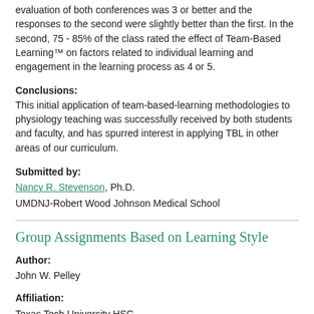evaluation of both conferences was 3 or better and the responses to the second were slightly better than the first. In the second, 75 - 85% of the class rated the effect of Team-Based Learning™ on factors related to individual learning and engagement in the learning process as 4 or 5.
Conclusions:
This initial application of team-based-learning methodologies to physiology teaching was successfully received by both students and faculty, and has spurred interest in applying TBL in other areas of our curriculum.
Submitted by:
Nancy R. Stevenson, Ph.D.
UMDNJ-Robert Wood Johnson Medical School
Group Assignments Based on Learning Style
Author:
John W. Pelley
Affiliation:
Texas Tech University HSC